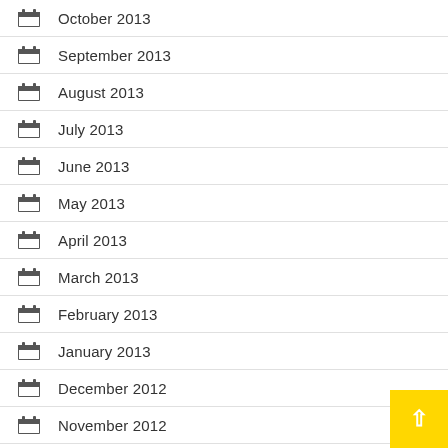October 2013
September 2013
August 2013
July 2013
June 2013
May 2013
April 2013
March 2013
February 2013
January 2013
December 2012
November 2012
October 2012